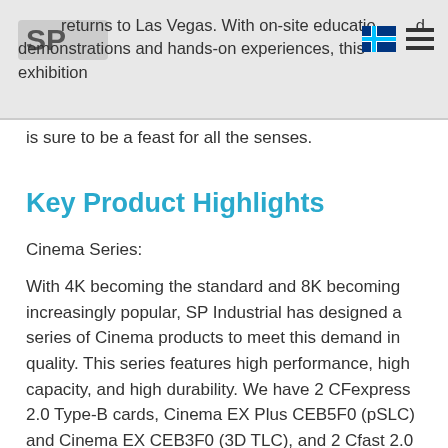show returns to Las Vegas. With on-site education and demonstrations and hands-on experiences, this exhibition
is sure to be a feast for all the senses.
Key Product Highlights
Cinema Series:
With 4K becoming the standard and 8K becoming increasingly popular, SP Industrial has designed a series of Cinema products to meet this demand in quality. This series features high performance, high capacity, and high durability. We have 2 CFexpress 2.0 Type-B cards, Cinema EX Plus CEB5F0 (pSLC) and Cinema EX CEB3F0 (3D TLC), and 2 Cfast 2.0 SATA III cards, Cinema Pro CFX310 (MLC) and Cinema X CFX510 (MLC), to satisfy various customer needs. All cards are suitable for professionals using